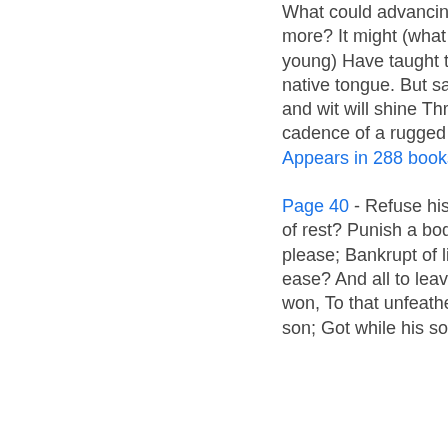What could advancing age have added more? It might (what Nature never gives the young) Have taught the numbers of thy native tongue. But satire needs not those, and wit will shine Through the harsh cadence of a rugged line.
Appears in 288 books from 1703-2008
Page 40 - Refuse his age the needful hours of rest? Punish a body which he could not please; Bankrupt of life, yet prodigal of ease? And all to leave what with his toil he won, To that unfeather'd two-legg'd thing, a son; Got while his soul did